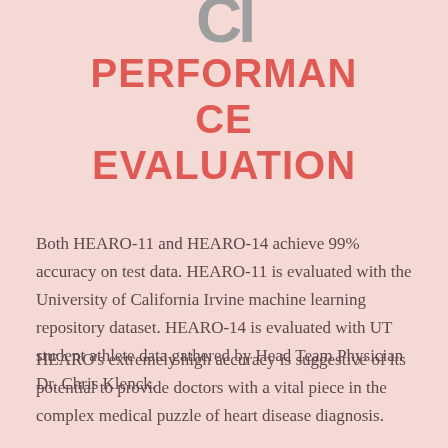[Figure (logo): Partial logo showing letters 'CI' or similar in large bold gray text, cropped at top of page]
PERFORMANCE EVALUATION
Both HEARO-11 and HEARO-14 achieve 99% accuracy on test data. HEARO-11 is evaluated with the University of California Irvine machine learning repository dataset. HEARO-14 is evaluated with UT student athlete data gathered by Head Team Physician Dr. Chris Klenck.
HEARO's extremely high accuracy is suggestive of its potential to provide doctors with a vital piece in the complex medical puzzle of heart disease diagnosis.